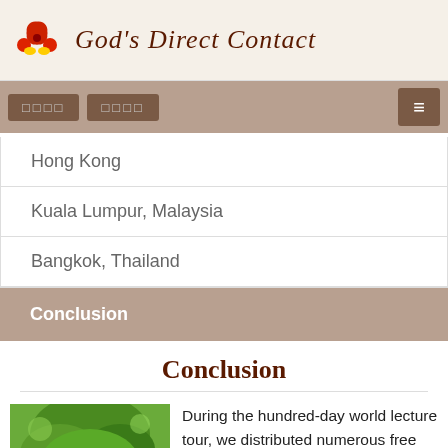God's Direct Contact
Hong Kong
Kuala Lumpur, Malaysia
Bangkok, Thailand
Conclusion
Conclusion
[Figure (photo): Person outdoors among green trees/foliage]
During the hundred-day world lecture tour, we distributed numerous free sample booklets, leaflets and posters.